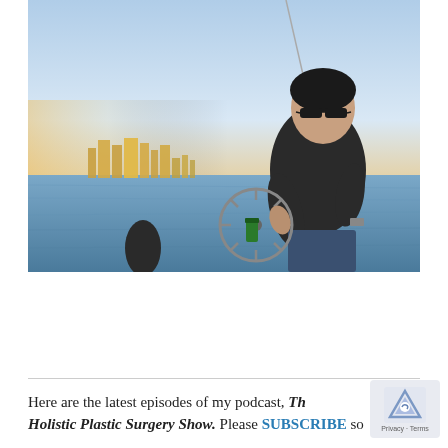[Figure (photo): A man wearing sunglasses and a dark t-shirt sits on a sailboat, leaning on the steering wheel. A city skyline and blue water are visible in the background under a clear sky.]
Here are the latest episodes of my podcast, The Holistic Plastic Surgery Show. Please SUBSCRIBE so...